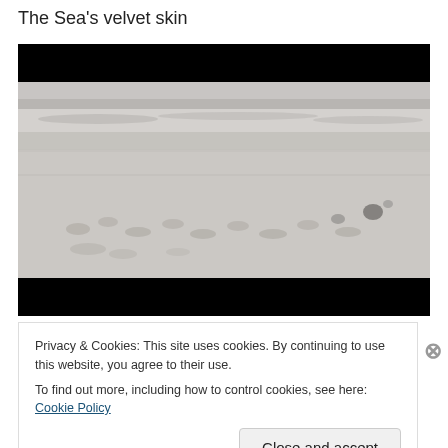The Sea's velvet skin
[Figure (photo): Black and white photograph of a sandy beach with footprints in the sand, ocean waves visible in the background, dark letterbox bars at top and bottom of the image.]
Privacy & Cookies: This site uses cookies. By continuing to use this website, you agree to their use.
To find out more, including how to control cookies, see here: Cookie Policy
Close and accept